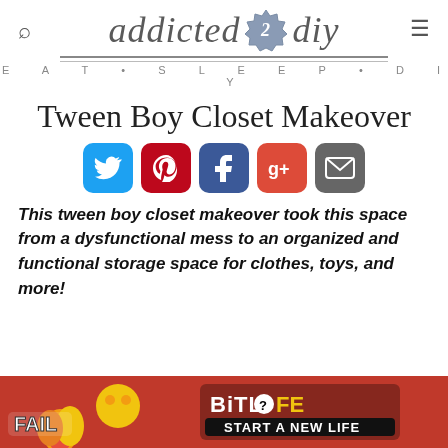addicted 2 diy — EAT • SLEEP • DIY
Tween Boy Closet Makeover
[Figure (infographic): Five social media share buttons: Twitter (blue bird), Pinterest (red P), Facebook (dark blue f), Google+ (red-orange g+), Email (gray envelope)]
This tween boy closet makeover took this space from a dysfunctional mess to an organized and functional storage space for clothes, toys, and more!
[Figure (infographic): Advertisement banner: BitLife 'Start a New Life' game ad with cartoon character, flames, and fail text on red background]